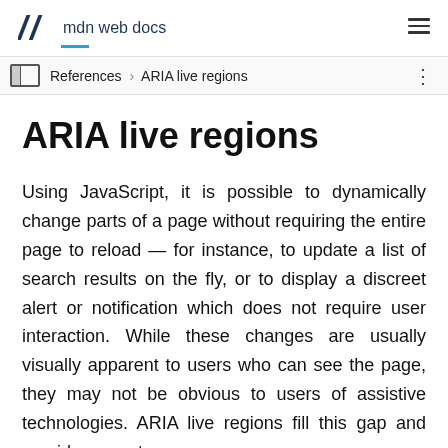mdn web docs
ARIA live regions
Using JavaScript, it is possible to dynamically change parts of a page without requiring the entire page to reload — for instance, to update a list of search results on the fly, or to display a discreet alert or notification which does not require user interaction. While these changes are usually visually apparent to users who can see the page, they may not be obvious to users of assistive technologies. ARIA live regions fill this gap and provide a way to